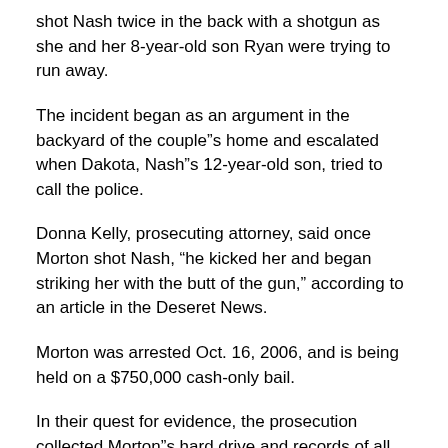shot Nash twice in the back with a shotgun as she and her 8-year-old son Ryan were trying to run away.
The incident began as an argument in the backyard of the couple"s home and escalated when Dakota, Nash"s 12-year-old son, tried to call the police.
Donna Kelly, prosecuting attorney, said once Morton shot Nash, “he kicked her and began striking her with the butt of the gun,” according to an article in the Deseret News.
Morton was arrested Oct. 16, 2006, and is being held on a $750,000 cash-only bail.
In their quest for evidence, the prosecution collected Morton"s hard drive and records of all phone conversations to and from Morton while he was in custody in Utah County jail.